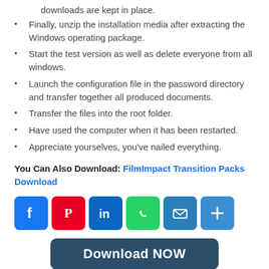downloads are kept in place.
Finally, unzip the installation media after extracting the Windows operating package.
Start the test version as well as delete everyone from all windows.
Launch the configuration file in the password directory and transfer together all produced documents.
Transfer the files into the root folder.
Have used the computer when it has been restarted.
Appreciate yourselves, you've nailed everything.
You Can Also Download: FilmImpact Transition Packs Download
[Figure (infographic): Row of social media share buttons: Facebook (blue), Pinterest (red), LinkedIn (blue), WhatsApp (green), Email (blue), Share/Plus (blue)]
Download NOW